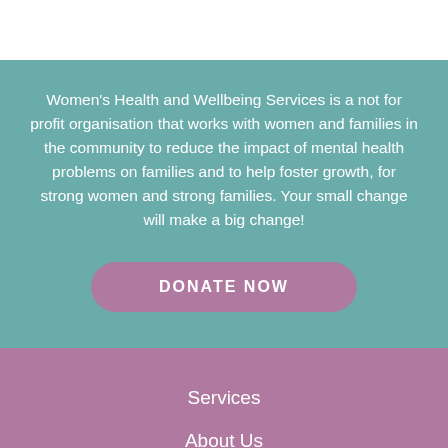Women's Health and Wellbeing Services is a not for profit organisation that works with women and families in the community to reduce the impact of mental health problems on families and to help foster growth, for strong women and strong families. Your small change will make a big change!
DONATE NOW
Services
About Us
Documentation
What's On
Resources